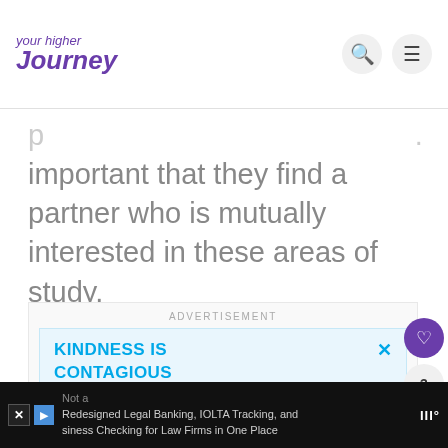your higher journey
important that they find a partner who is mutually interested in these areas of study.
[Figure (other): Advertisement banner with text: KINDNESS IS CONTAGIOUS PASS IT ON on light blue background]
[Figure (other): Right side action buttons: heart/like button (purple), count 3, share button]
Not a Redesigned Legal Banking, IOLTA Tracking, and Business Checking for Law Firms in One Place